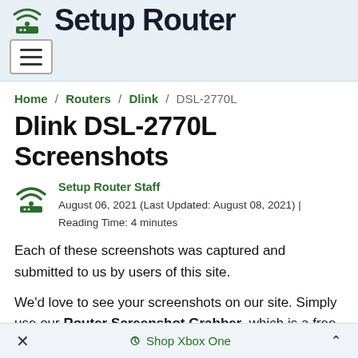Setup Router
Home / Routers / Dlink / DSL-2770L
Dlink DSL-2770L Screenshots
Setup Router Staff
August 06, 2021 (Last Updated: August 08, 2021) | Reading Time: 4 minutes
Each of these screenshots was captured and submitted to us by users of this site.
We'd love to see your screenshots on our site. Simply use our Router Screenshot Grabber, which is a free tool in Network Utilities. It makes
× Shop Xbox One ^